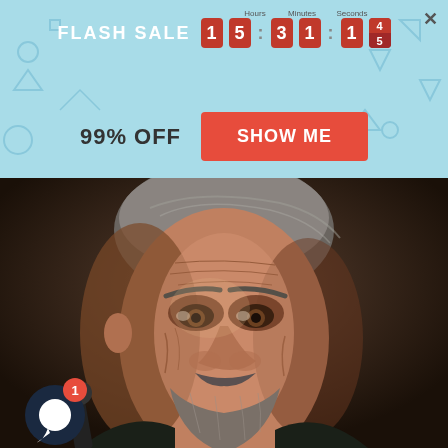[Figure (screenshot): Flash sale banner with countdown timer showing 15 hours, 31 minutes, 14 seconds. Shows '99% OFF' and a red 'SHOW ME' button. Light blue background with geometric shapes. Close (X) button in top right.]
[Figure (photo): Close-up portrait of an elderly man with deep wrinkles, grey hair, grey beard, and intense brown eyes. Dark dramatic lighting. A dark object (instrument or cane) visible over shoulder. Chat notification bubble with badge '1' in lower left.]